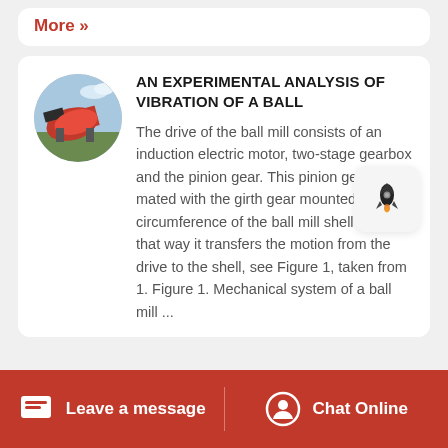More »
AN EXPERIMENTAL ANALYSIS OF VIBRATION OF A BALL
[Figure (photo): Circular thumbnail photo of an industrial orange ball mill machine outdoors]
The drive of the ball mill consists of an induction electric motor, two-stage gearbox and the pinion gear. This pinion gear is mated with the girth gear mounted on circumference of the ball mill shell and in that way it transfers the motion from the drive to the shell, see Figure 1, taken from 1. Figure 1. Mechanical system of a ball mill ...
Leave a message   Chat Online